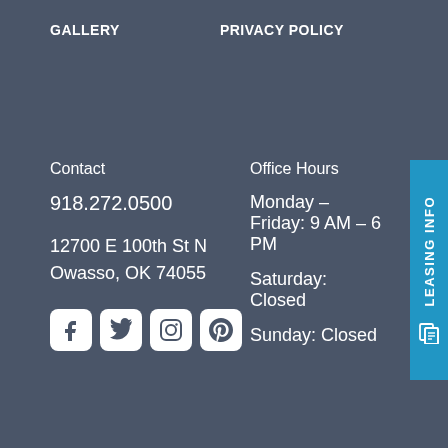GALLERY    PRIVACY POLICY
Contact
918.272.0500
12700 E 100th St N
Owasso, OK 74055
[Figure (other): Social media icons: Facebook, Twitter, Instagram, Pinterest]
Office Hours
Monday – Friday: 9 AM – 6 PM
Saturday: Closed
Sunday: Closed
[Figure (other): Blue vertical LEASING INFO tab with document icon on right side]